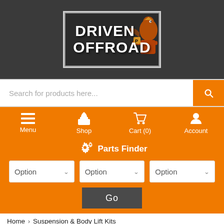[Figure (logo): Driven Offroad logo with text on dark background with decorative eagle/bird graphic]
Search for products here...
Menu
Shop
Cart (0)
Account
⚙ Parts Finder
Option
Option
Option
Go
Home › Suspension & Body Lift Kits
Suspension Components
Universal Bump Stop LandCruiser Rear